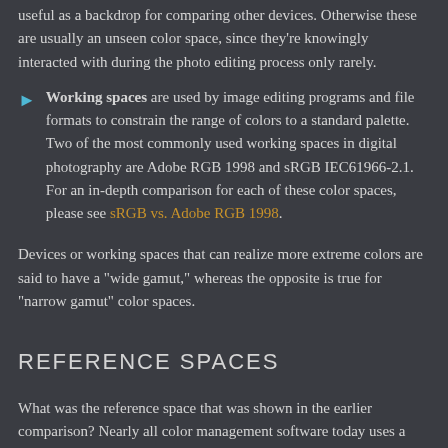useful as a backdrop for comparing other devices. Otherwise these are usually an unseen color space, since they're knowingly interacted with during the photo editing process only rarely.
Working spaces are used by image editing programs and file formats to constrain the range of colors to a standard palette. Two of the most commonly used working spaces in digital photography are Adobe RGB 1998 and sRGB IEC61966-2.1. For an in-depth comparison for each of these color spaces, please see sRGB vs. Adobe RGB 1998.
Devices or working spaces that can realize more extreme colors are said to have a "wide gamut," whereas the opposite is true for "narrow gamut" color spaces.
REFERENCE SPACES
What was the reference space that was shown in the earlier comparison? Nearly all color management software today uses a device-independent space defined by the Commission International